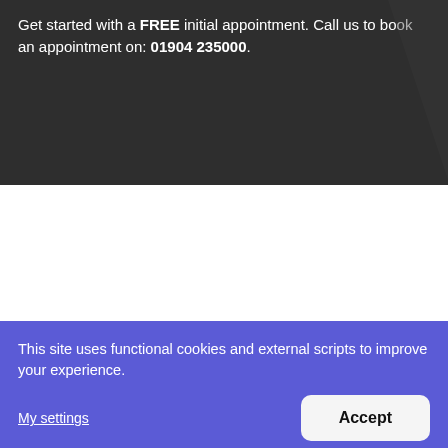Get started with a FREE initial appointment. Call us to book an appointment on: 01904 235000.
This site uses functional cookies and external scripts to improve your experience.
My settings
Accept